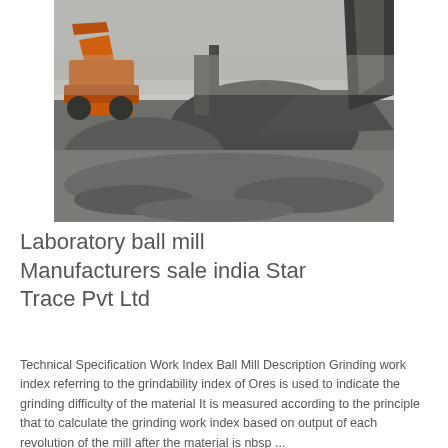[Figure (photo): Outdoor industrial stone crushing / aggregate site with piles of crushed gravel and rock, heavy machinery (loader) visible in the background, conveyor belt system on the right, dusty hazy sky.]
Laboratory ball mill Manufacturers sale india Star Trace Pvt Ltd
Technical Specification Work Index Ball Mill Description Grinding work index referring to the grindability index of Ores is used to indicate the grinding difficulty of the material It is measured according to the principle that to calculate the grinding work index based on output of each revolution of the mill after the material is nbsp ...